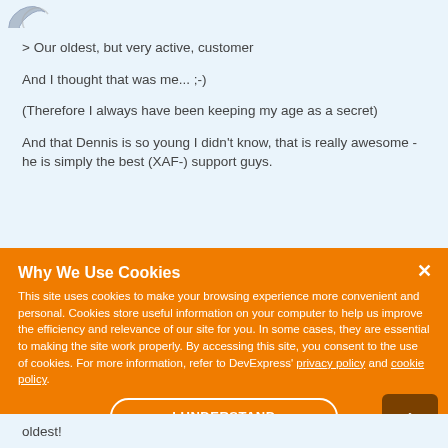[Figure (logo): Partial logo visible at top left corner]
> Our oldest, but very active, customer
And I thought that was me... ;-)
(Therefore I always have been keeping my age as a secret)
And that Dennis is so young I didn't know, that is really awesome - he is simply the best (XAF-) support guys.
Why We Use Cookies
This site uses cookies to make your browsing experience more convenient and personal. Cookies store useful information on your computer to help us improve the efficiency and relevance of our site for you. In some cases, they are essential to making the site work properly. By accessing this site, you consent to the use of cookies. For more information, refer to DevExpress' privacy policy and cookie policy.
oldest!